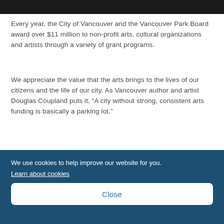[Figure (photo): Dark image bar at top of page]
Every year, the City of Vancouver and the Vancouver Park Board award over $11 million to non-profit arts, cultural organizations and artists through a variety of grant programs.
We appreciate the value that the arts brings to the lives of our citizens and the life of our city. As Vancouver author and artist Douglas Coupland puts it, “A city without strong, consistent arts funding is basically a parking lot.”
We use cookies to help improve our website for you.
Learn about cookies
Close